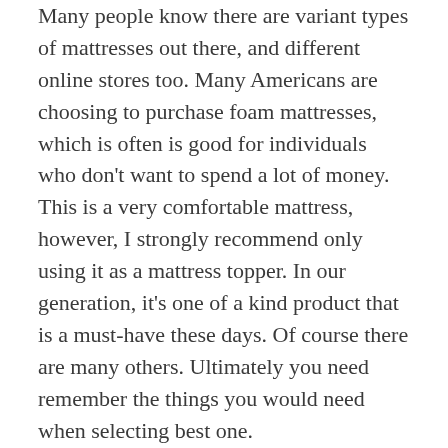Many people know there are variant types of mattresses out there, and different online stores too. Many Americans are choosing to purchase foam mattresses, which is often is good for individuals who don't want to spend a lot of money. This is a very comfortable mattress, however, I strongly recommend only using it as a mattress topper. In our generation, it's one of a kind product that is a must-have these days. Of course there are many others. Ultimately you need remember the things you would need when selecting best one.
Mainly if you are considering new bed or searching for the ideal mattress, sleepy's mattresses on sale this week is one of the factors you have to think about. Naturally there are